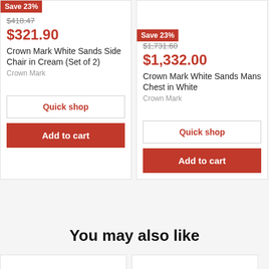[Figure (photo): Product card left: Crown Mark White Sands Side Chair in Cream (Set of 2) with Save 23% badge]
Save 23%
$418.47
$321.90
Crown Mark White Sands Side Chair in Cream (Set of 2)
Crown Mark
Quick shop
Add to cart
[Figure (photo): Product card right: Crown Mark White Sands Mans Chest in White with Save 23% badge]
Save 23%
$1,731.60
$1,332.00
Crown Mark White Sands Mans Chest in White
Crown Mark
Quick shop
Add to cart
You may also like